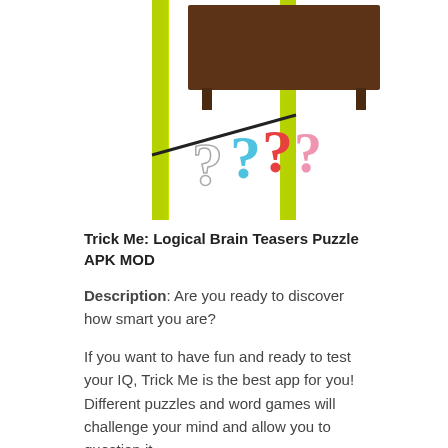[Figure (illustration): Cartoon illustration of a chalkboard/blackboard with four colorful question marks beneath it — white outline, blue, red, and pink — on a white background with yellow-green vertical borders on left and right sides.]
Trick Me: Logical Brain Teasers Puzzle APK MOD
Description: Are you ready to discover how smart you are?
If you want to have fun and ready to test your IQ, Trick Me is the best app for you! Different puzzles and word games will challenge your mind and allow you to question it.
Our mission is to test your mind and...